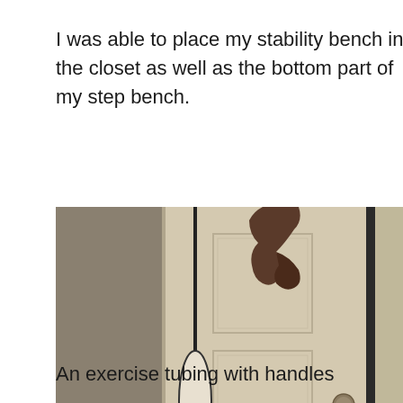I was able to place my stability bench in the closet as well as the bottom part of my step bench.
[Figure (photo): A closet door with exercise resistance tubing and handles hanging on it. A brown towel or cloth is draped over the top of the door. The door is white with a silver door handle. A watermark reads 'DeliciouslyInspired.com' in blue text at the bottom right.]
An exercise tubing with handles is attached to your door along with